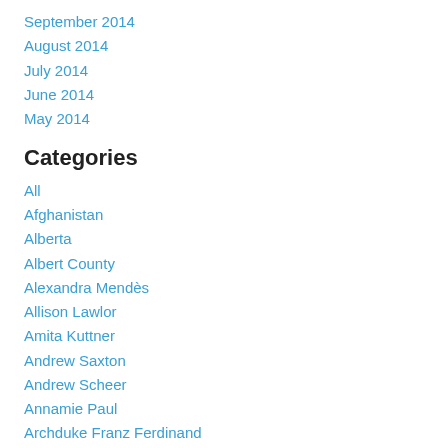September 2014
August 2014
July 2014
June 2014
May 2014
Categories
All
Afghanistan
Alberta
Albert County
Alexandra Mendès
Allison Lawlor
Amita Kuttner
Andrew Saxton
Andrew Scheer
Annamie Paul
Archduke Franz Ferdinand
Aria David
Aron Seal
Artwork